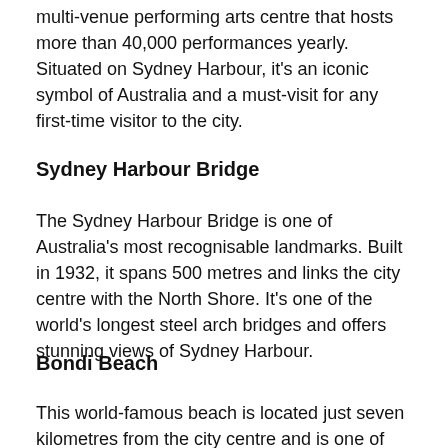multi-venue performing arts centre that hosts more than 40,000 performances yearly. Situated on Sydney Harbour, it's an iconic symbol of Australia and a must-visit for any first-time visitor to the city.
Sydney Harbour Bridge
The Sydney Harbour Bridge is one of Australia's most recognisable landmarks. Built in 1932, it spans 500 metres and links the city centre with the North Shore. It's one of the world's longest steel arch bridges and offers stunning views of Sydney Harbour.
Bondi Beach
This world-famous beach is located just seven kilometres from the city centre and is one of Sydney's most popular tourist spots. Bondi Beach is the perfect place to relax and